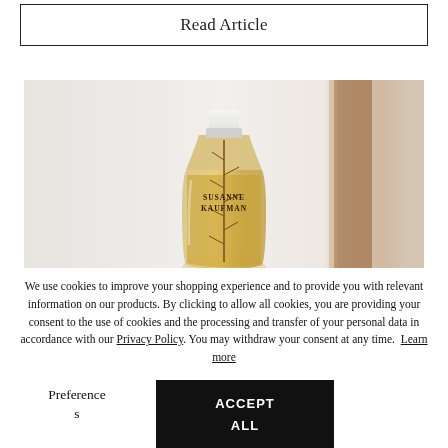Read Article
[Figure (photo): A clear plastic bottle containing golden/amber liquid with a herb (rosemary) sprig inside, labeled 'SUSANNE KAUFMAN', photographed against a soft light background.]
We use cookies to improve your shopping experience and to provide you with relevant information on our products. By clicking to allow all cookies, you are providing your consent to the use of cookies and the processing and transfer of your personal data in accordance with our Privacy Policy. You may withdraw your consent at any time. Learn more
Preferences
ACCEPT ALL